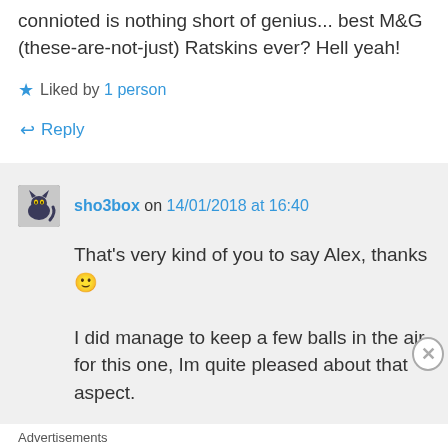connioted is nothing short of genius... best M&G (these-are-not-just) Ratskins ever? Hell yeah!
★ Liked by 1 person
↵ Reply
sho3box on 14/01/2018 at 16:40
That's very kind of you to say Alex, thanks 🙂
I did manage to keep a few balls in the air for this one, Im quite pleased about that aspect.
Advertisements
[Figure (infographic): Jetpack advertisement banner with logo and 'Back up your site' button on green background]